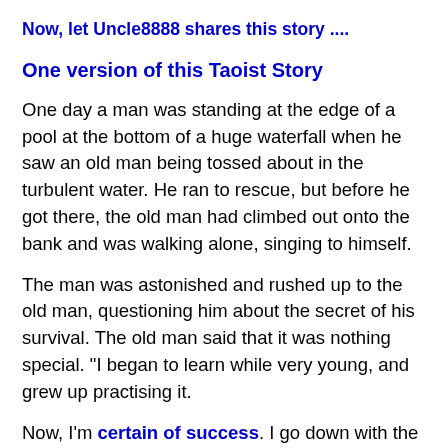Now, let Uncle8888 shares this story ....
One version of this Taoist Story
One day a man was standing at the edge of a pool at the bottom of a huge waterfall when he saw an old man being tossed about in the turbulent water. He ran to rescue, but before he got there, the old man had climbed out onto the bank and was walking alone, singing to himself.
The man was astonished and rushed up to the old man, questioning him about the secret of his survival. The old man said that it was nothing special. "I began to learn while very young, and grew up practising it.
Now, I'm certain of success. I go down with the water and come up with the water. I follow it and